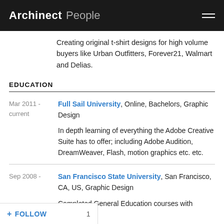Archinect People
Creating original t-shirt designs for high volume buyers like Urban Outfitters, Forever21, Walmart and Delias.
EDUCATION
Mar 2011 - current | Full Sail University, Online, Bachelors, Graphic Design
In depth learning of everything the Adobe Creative Suite has to offer; including Adobe Audition, DreamWeaver, Flash, motion graphics etc. etc.
Sep 2008 - | San Francisco State University, San Francisco, CA, US, Graphic Design
Completed General Education courses with